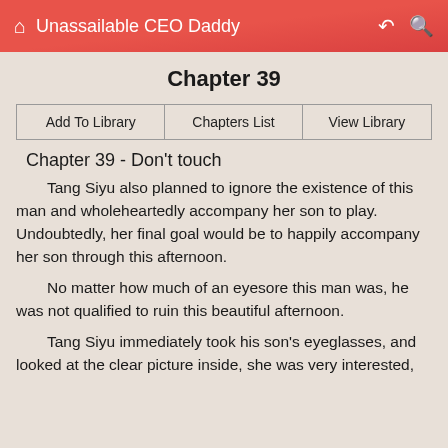Unassailable CEO Daddy
Chapter 39
| Add To Library | Chapters List | View Library |
| --- | --- | --- |
Chapter 39 - Don't touch
Tang Siyu also planned to ignore the existence of this man and wholeheartedly accompany her son to play. Undoubtedly, her final goal would be to happily accompany her son through this afternoon.
No matter how much of an eyesore this man was, he was not qualified to ruin this beautiful afternoon.
Tang Siyu immediately took his son's eyeglasses, and looked at the clear picture inside, she was very interested,